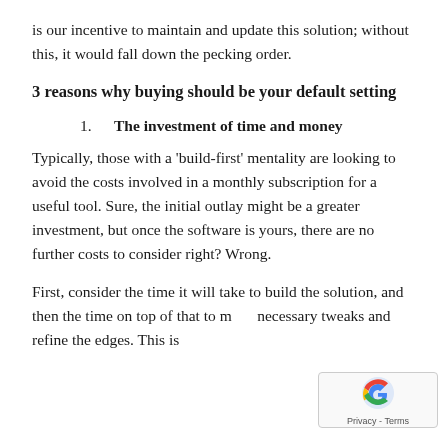is our incentive to maintain and update this solution; without this, it would fall down the pecking order.
3 reasons why buying should be your default setting
1. The investment of time and money
Typically, those with a 'build-first' mentality are looking to avoid the costs involved in a monthly subscription for a useful tool. Sure, the initial outlay might be a greater investment, but once the software is yours, there are no further costs to consider right? Wrong.
First, consider the time it will take to build the solution, and then the time on top of that to make necessary tweaks and refine the edges. This is